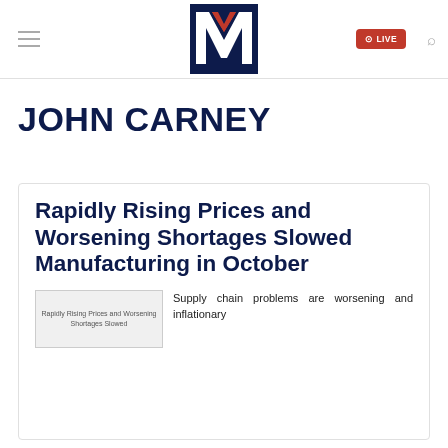LIVE
JOHN CARNEY
Rapidly Rising Prices and Worsening Shortages Slowed Manufacturing in October
[Figure (photo): Thumbnail image placeholder for article: Rapidly Rising Prices and Worsening Shortages Slowed Manufacturing in October]
Supply chain problems are worsening and inflationary